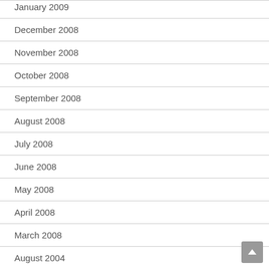January 2009
December 2008
November 2008
October 2008
September 2008
August 2008
July 2008
June 2008
May 2008
April 2008
March 2008
August 2004